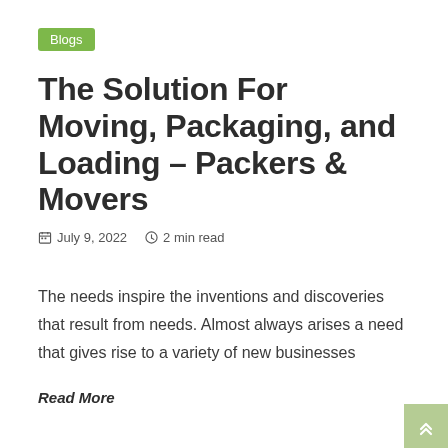Blogs
The Solution For Moving, Packaging, and Loading – Packers & Movers
July 9, 2022   2 min read
The needs inspire the inventions and discoveries that result from needs. Almost always arises a need that gives rise to a variety of new businesses
Read More